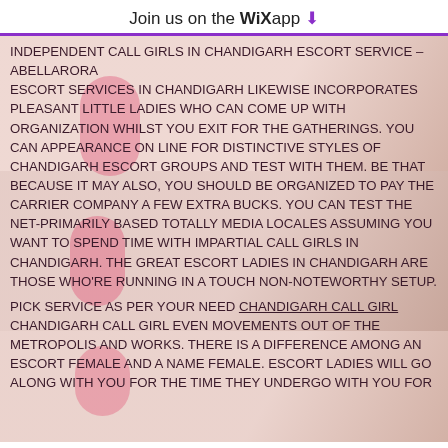Join us on the WiX app ↓
Independent Call Girls in Chandigarh Escort Service – Abellarora
Escort Services in Chandigarh likewise incorporates pleasant little ladies who can come up with organization whilst you exit for the gatherings. You can appearance on line for distinctive styles of Chandigarh escort groups and test with them. Be that because it may also, you should be organized to pay the carrier company a few extra bucks. You can test the net-primarily based totally media locales assuming you want to spend time with impartial Call Girls in Chandigarh. The great escort ladies in Chandigarh are those who're running in a touch non-noteworthy setup.
Pick Service as Per Your Need Chandigarh Call Girl
Chandigarh Call Girl even movements out of the metropolis and works. There is a difference among an escort female and a name female. Escort ladies will go along with you for the time they undergo with you for